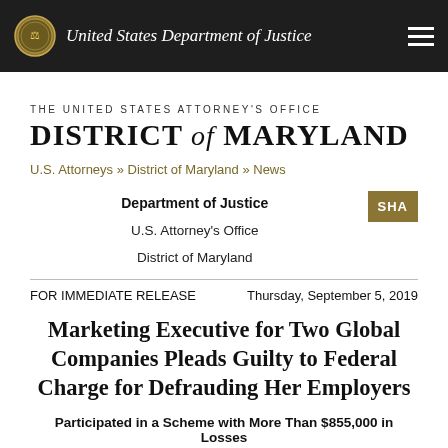United States Department of Justice
THE UNITED STATES ATTORNEY'S OFFICE
DISTRICT of MARYLAND
U.S. Attorneys » District of Maryland » News
Department of Justice
U.S. Attorney's Office
District of Maryland
FOR IMMEDIATE RELEASE
Thursday, September 5, 2019
Marketing Executive for Two Global Companies Pleads Guilty to Federal Charge for Defrauding Her Employers
Participated in a Scheme with More Than $855,000 in Losses